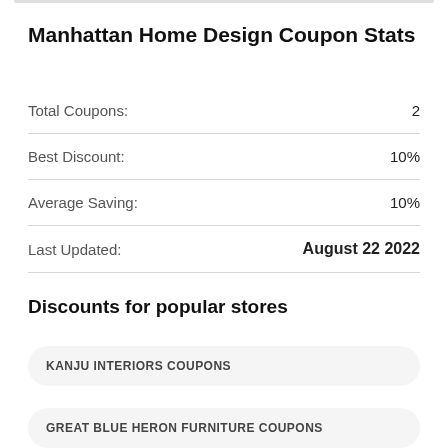Manhattan Home Design Coupon Stats
| Label | Value |
| --- | --- |
| Total Coupons: | 2 |
| Best Discount: | 10% |
| Average Saving: | 10% |
| Last Updated: | August 22 2022 |
Discounts for popular stores
KANJU INTERIORS COUPONS
GREAT BLUE HERON FURNITURE COUPONS